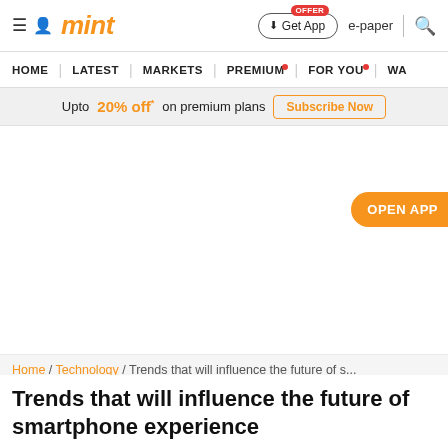mint — Home | Latest | Markets | Premium | For You | Wat...
Upto 20% off* on premium plans — Subscribe Now
OPEN APP
Home / Technology / Trends that will influence the future of s...
Trends that will influence the future of smartphone experience